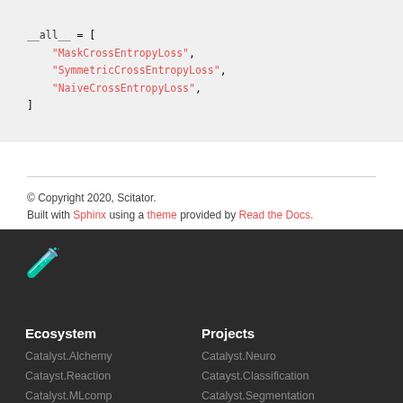__all__ = [
    "MaskCrossEntropyLoss",
    "SymmetricCrossEntropyLoss",
    "NaiveCrossEntropyLoss",
]
© Copyright 2020, Scitator.
Built with Sphinx using a theme provided by Read the Docs.
[Figure (logo): Red flask/beaker emoji icon on dark background]
Ecosystem
Projects
Catalyst.Alchemy
Catayst.Reaction
Catalyst.MLcomp
Catalyst.Neuro
Catayst.Classification
Catalyst.Segmentation